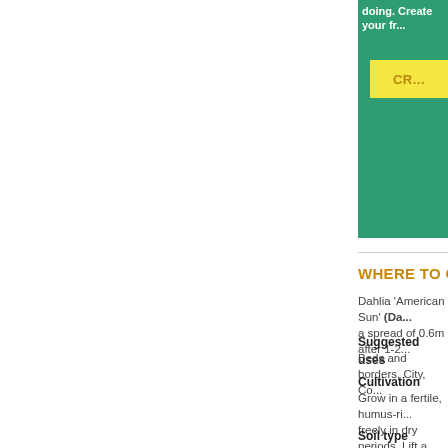doing. Create your fr...
CR...
WHERE TO GROW
Dahlia 'American Sun' (Da... a spread of 0.6m after 1-2...
Suggested uses
Beds and borders, City, Co...
Cultivation
Grow in a fertile, humus-ri... freely in dry periods. Lift a...
Soil type
Clay, Loamy, Sandy
Soil drainage
Moist but well-drained, We...
Soil pH